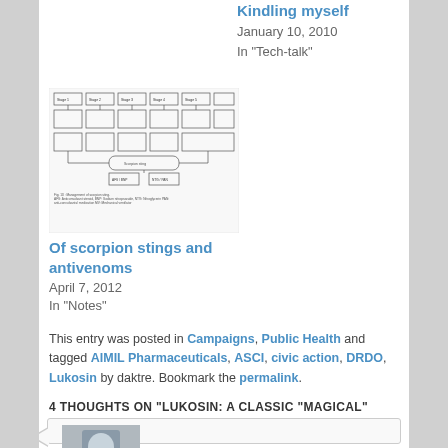Kindling myself
January 10, 2010
In "Tech-talk"
[Figure (other): Flowchart diagram of management of scorpion sting with legend text below]
Of scorpion stings and antivenoms
April 7, 2012
In "Notes"
This entry was posted in Campaigns, Public Health and tagged AIMIL Pharmaceuticals, ASCI, civic action, DRDO, Lukosin by daktre. Bookmark the permalink.
4 THOUGHTS ON "LUKOSIN: A CLASSIC "MAGICAL" REMEDY"
[Figure (photo): Avatar photo of a person in a comment box]